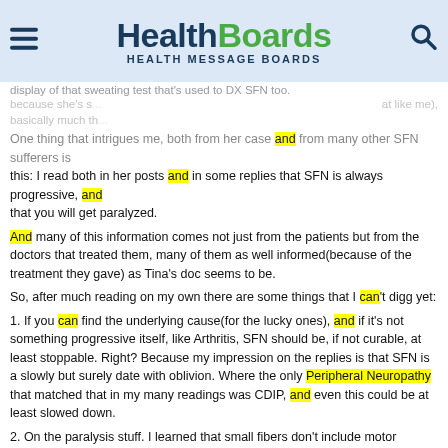HealthBoards HEALTH MESSAGE BOARDS
display of that sweating test that's used to DX SFN too.
because she's s... (cut off) ...at like me), basically much th... HEALTH MESSAGE BOARDS
One thing that intrigues me, both from her case and from many other SFN sufferers is this: I read both in her posts and in some replies that SFN is always progressive, and that you will get paralyzed.
And many of this information comes not just from the patients but from the doctors that treated them, many of them as well informed(because of the treatment they gave) as Tina’s doc seems to be.
So, after much reading on my own there are some things that I can't digg yet:
1. If you can find the underlying cause(for the lucky ones), and if it's not something progressive itself, like Arthritis, SFN should be, if not curable, at least stoppable. Right? Because my impression on the replies is that SFN is a slowly but surely date with oblivion. Where the only Peripheral Neuropathy that matched that in my many readings was CDIP, and even this could be at least slowed down.
2. On the paralysis stuff. I learned that small fibers don’t include motor function(controlled by large fibers), so the paralysis you’re talking about comes from the total loss of sensorial function which translates into the inability to move/walk, or that SFN cases do involve large fibers too(motor neurons). I have read that “pure motor issues” often have Small Fiber components and viceversa, but I wanted to ask anyway.
On a side note I have both large and small fibers involvement, the first one confirmed through EMG/NCV test, the last one because of my symptoms, but no doctor named, suggested or tried anything SFN related.
3. Finally, if the neuropathy ends being idiopathic, as most cases in here, judging for the treatment that Tina is trying, I can't see that much difference, from some other people diagnosed with pure motor, or non-specific neuropathy cases. So, in this case